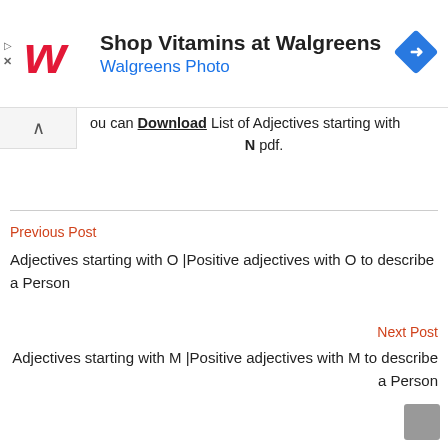[Figure (other): Walgreens advertisement banner with logo, 'Shop Vitamins at Walgreens', 'Walgreens Photo', and navigation arrow icon]
ou can Download List of Adjectives starting with N pdf.
Previous Post
Adjectives starting with O |Positive adjectives with O to describe a Person
Next Post
Adjectives starting with M |Positive adjectives with M to describe a Person